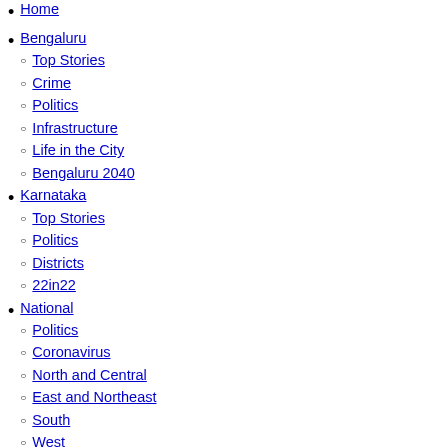Home
Bengaluru
Top Stories
Crime
Politics
Infrastructure
Life in the City
Bengaluru 2040
Karnataka
Top Stories
Politics
Districts
22in22
National
Politics
Coronavirus
North and Central
East and Northeast
South
West
India@75
Sports
Cricket